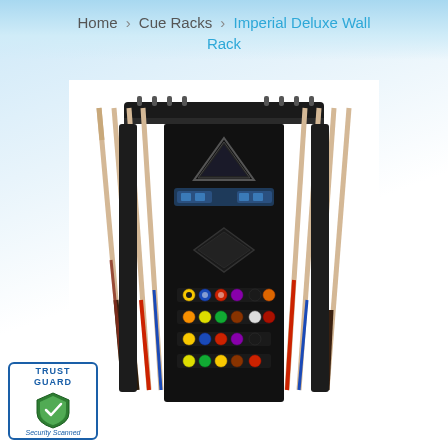Home > Cue Racks > Imperial Deluxe Wall Rack
[Figure (photo): Imperial Deluxe Wall Rack — a black wall-mounted billiard cue rack holding 8 pool cues (4 on each side), with a triangle rack holder at top center, a chalk tray, a diamond-shaped shelf, and 4 rows of billiard balls displayed at the bottom center.]
[Figure (logo): TrustGuard Security Scanned badge with shield icon]